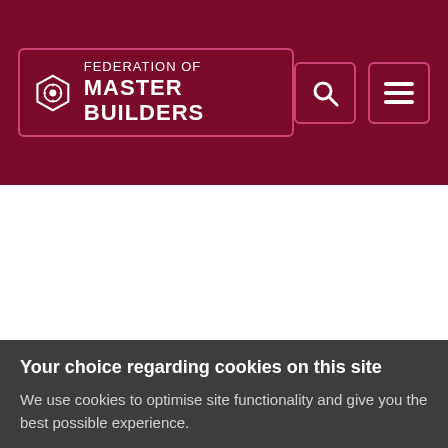FEDERATION OF MASTER BUILDERS
Painter and
Your choice regarding cookies on this site
We use cookies to optimise site functionality and give you the best possible experience.
Accept recommended settings
Settings